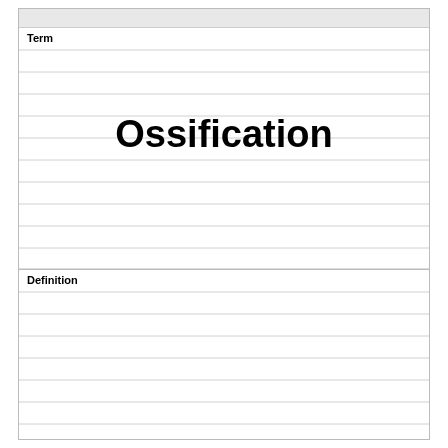| Term | Definition |
| --- | --- |
| Ossification |  |